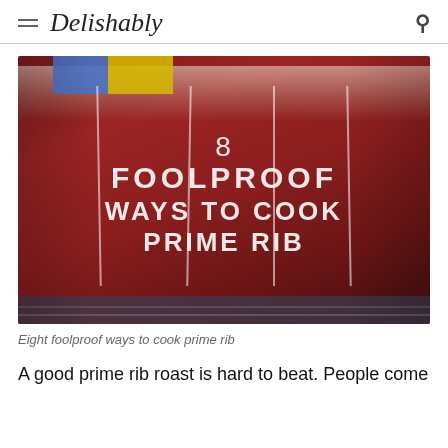Delishably
[Figure (photo): A raw prime rib roast tied with butcher's twine sitting on a rack, with text overlay reading '8 FOOLPROOF WAYS TO COOK PRIME RIB']
Eight foolproof ways to cook prime rib
A good prime rib roast is hard to beat. People come